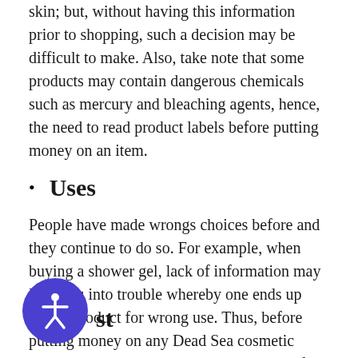skin; but, without having this information prior to shopping, such a decision may be difficult to make. Also, take note that some products may contain dangerous chemicals such as mercury and bleaching agents, hence, the need to read product labels before putting money on an item.
Uses
People have made wrongs choices before and they continue to do so. For example, when buying a shower gel, lack of information may land you into trouble whereby one ends up with a product for wrong use. Thus, before putting money on any Dead Sea cosmetic products, it is advisable to have a purpose for which you need one in mind. It is the safest bet one can place on an ideal skincare regimen.
st